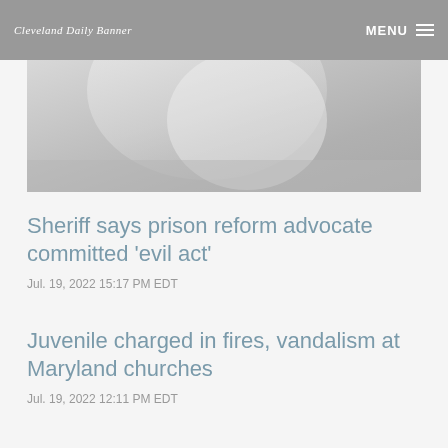Cleveland Daily Banner | MENU
[Figure (photo): Partial view of a faded/blurred image, grayscale tones of white and gray, appears to be a person or object in soft focus]
Sheriff says prison reform advocate committed 'evil act'
Jul. 19, 2022 15:17 PM EDT
Juvenile charged in fires, vandalism at Maryland churches
Jul. 19, 2022 12:11 PM EDT